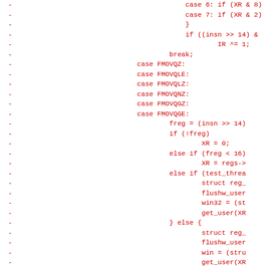Code diff showing removed lines with case statements and conditional logic for FMOVQZ, FMOVQLE, FMOVQLZ, FMOVQNZ, FMOVQGZ, FMOVQGE cases and register operations